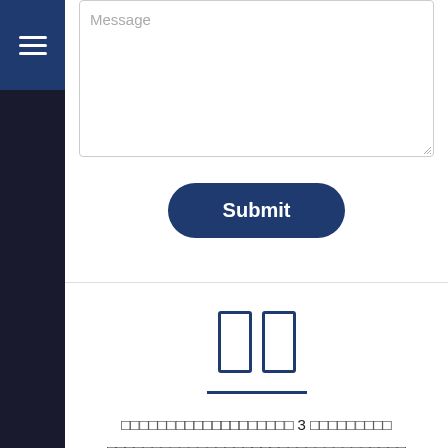[Figure (screenshot): Message textarea input field with placeholder text 'Message' and resize handle in bottom-right corner]
[Figure (screenshot): Submit button with dark navy blue rounded rectangle shape and white bold text 'Submit']
[Figure (infographic): Pause icon (two vertical rectangles) in dark navy blue with horizontal underline bar below it]
□□□□□□□□□□□□□□□□□□□ 3 □□□□□□□□□ □□□□□□□□□□□□□□□□□□□□□□□□□□□□□□□□□ □□□□□□□□□□□□□□□□□□□□□□□□□□□□□□□□□